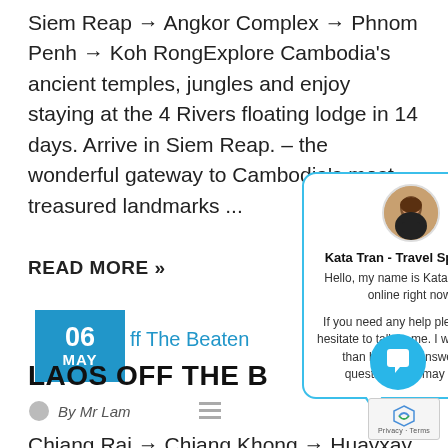Siem Reap → Angkor Complex → Phnom Penh → Koh RongExplore Cambodia's ancient temples, jungles and enjoy staying at the 4 Rivers floating lodge in 14 days. Arrive in Siem Reap. – the wonderful gateway to Cambodia's most treasured landmarks ...
READ MORE »
[Figure (other): Date badge showing 06 MAY in blue]
ff The Beaten
LAOS OFF THE B
By Mr Lam
[Figure (other): Chat popup with avatar of Kata Tran - Travel Specialist with greeting message]
Chiang Rai → Chiang Khong → Huayxay → Muan... → Golden Triangle → Luang Namtha → Namkat Yo... Bountai → Muang Khua → Ban Sopchem → Muang Ng... Nong Khiaw ... Luang PrabangSee Northern Laos amazing